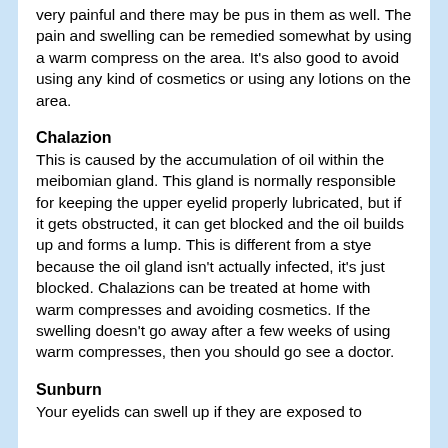very painful and there may be pus in them as well. The pain and swelling can be remedied somewhat by using a warm compress on the area. It's also good to avoid using any kind of cosmetics or using any lotions on the area.
Chalazion
This is caused by the accumulation of oil within the meibomian gland. This gland is normally responsible for keeping the upper eyelid properly lubricated, but if it gets obstructed, it can get blocked and the oil builds up and forms a lump. This is different from a stye because the oil gland isn't actually infected, it's just blocked. Chalazions can be treated at home with warm compresses and avoiding cosmetics. If the swelling doesn't go away after a few weeks of using warm compresses, then you should go see a doctor.
Sunburn
Your eyelids can swell up if they are exposed to